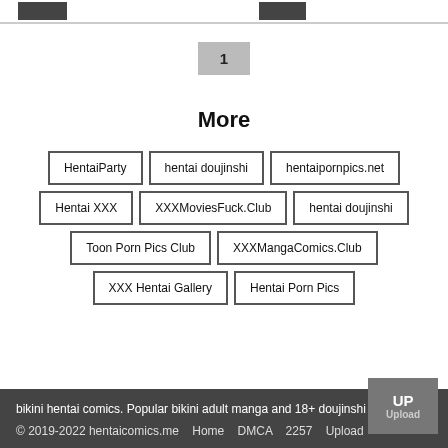[Figure (screenshot): Top navigation bar with two dark buttons]
1
More
HentaiParty
hentai doujinshi
hentaipornpics.net
Hentai XXX
XXXMoviesFuck.Club
hentai doujinshi
Toon Porn Pics Club
XXXMangaComics.Club
XXX Hentai Gallery
Hentai Porn Pics
bikini hentai comics. Popular bikini adult manga and 18+ doujinshi © 2019-2022 hentaicomics.me   Home   DMCA   2257   Upload